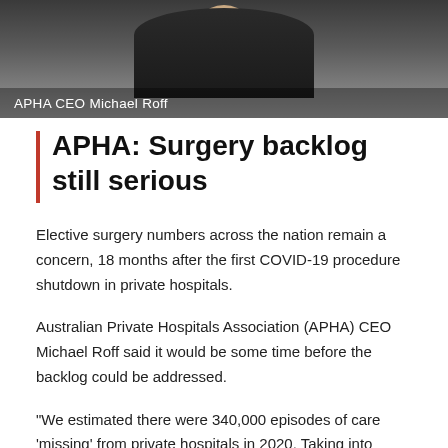[Figure (photo): Photo of APHA CEO Michael Roff, a man in a dark pinstripe suit with a purple tie, with caption overlay at the bottom of the image.]
APHA: Surgery backlog still serious
Elective surgery numbers across the nation remain a concern, 18 months after the first COVID-19 procedure shutdown in private hospitals.
Australian Private Hospitals Association (APHA) CEO Michael Roff said it would be some time before the backlog could be addressed.
“We estimated there were 340,000 episodes of care 'missing' from private hospitals in 2020. Taking into account the six months to the end of June, we now estimate that figure has fallen to 290,000, but it will still take a considerable amount of time to work